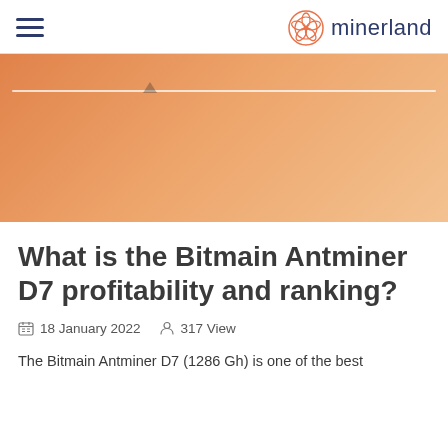minerland
[Figure (illustration): Orange gradient hero banner with a white horizontal line and small triangle marker near the top]
What is the Bitmain Antminer D7 profitability and ranking?
18 January 2022   317 View
The Bitmain Antminer D7 (1286 Gh) is one of the best